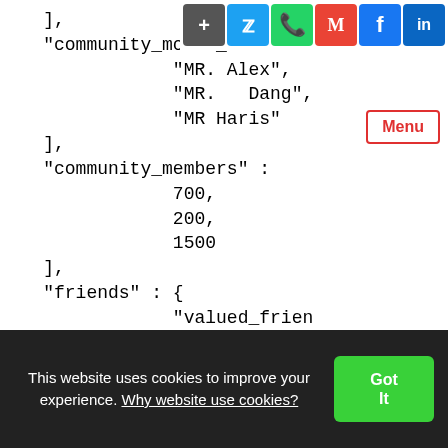[Figure (screenshot): Social media share buttons bar at top right: plus, Twitter, WhatsApp, Gmail, Facebook, LinkedIn icons]
[Figure (screenshot): Menu button overlay with red border]
],
"community_moder_id" :
        "MR. Alex",
        "MR.   Dang",
        "MR Haris"
],
"community_members" :
        700,
        200,
        1500
],
"friends" : {
        "valued_frien
        "...
This website uses cookies to improve your experience. Why website use cookies?